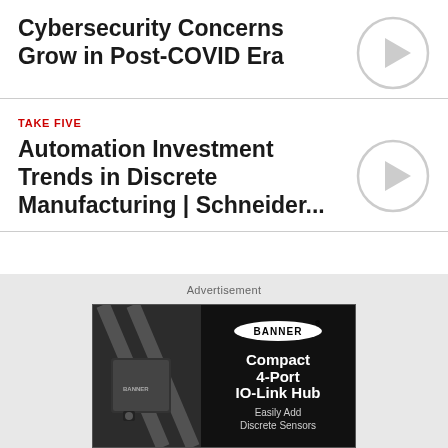Cybersecurity Concerns Grow in Post-COVID Era
[Figure (illustration): Circular play button icon (grey outline circle with right-pointing triangle)]
TAKE FIVE
Automation Investment Trends in Discrete Manufacturing | Schneider...
[Figure (illustration): Circular play button icon (grey outline circle with right-pointing triangle)]
Advertisement
[Figure (illustration): Banner Engineering advertisement showing a Compact 4-Port IO-Link Hub device with text 'Compact 4-Port IO-Link Hub' and 'Easily Add Discrete Sensors']